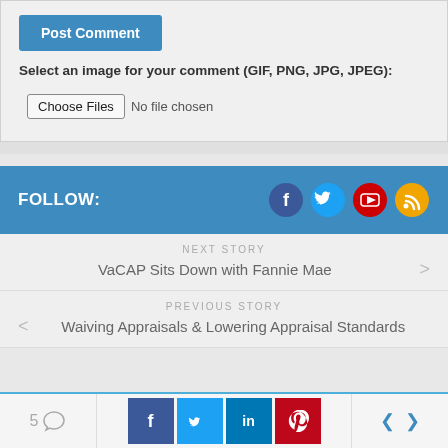Post Comment
Select an image for your comment (GIF, PNG, JPG, JPEG):
Choose Files  No file chosen
FOLLOW:
[Figure (other): Social media follow icons: Facebook, Twitter, YouTube, RSS]
NEXT STORY
VaCAP Sits Down with Fannie Mae
PREVIOUS STORY
Waiving Appraisals & Lowering Appraisal Standards
5
[Figure (other): Social share buttons: Facebook, Twitter, LinkedIn, Pinterest, and navigation arrows left/right]